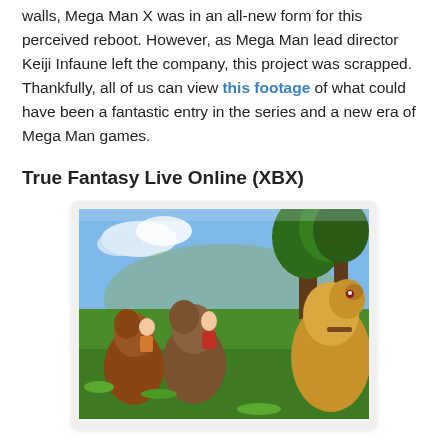walls, Mega Man X was in an all-new form for this perceived reboot. However, as Mega Man lead director Keiji Infaune left the company, this project was scrapped. Thankfully, all of us can view this footage of what could have been a fantastic entry in the series and a new era of Mega Man games.
True Fantasy Live Online (XBX)
[Figure (photo): Screenshot from True Fantasy Live Online showing animated characters riding dragon-like creatures in a lush green outdoor environment.]
A collaboration with Level-5 and Microsoft, True Fantasy Live